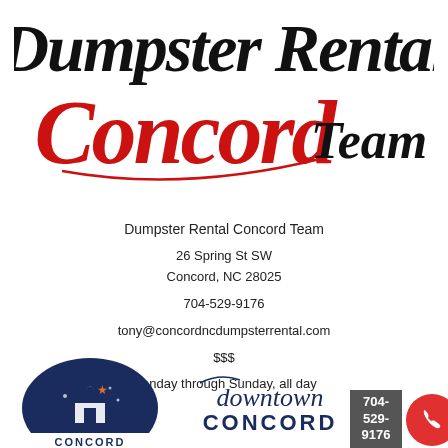[Figure (logo): Dumpster Rental Concord Team logo with black italic 'Dumpster Rental' text at top, red cursive 'Concord' script in middle, and black 'Team' text to the right]
Dumpster Rental Concord Team
26 Spring St SW
Concord, NC 28025
704-529-9176
tony@concordncdumpsterrental.com
$$$
Monday through Sunday, all day
[Figure (logo): Bottom area with downtown Concord logo (dark house/building silhouette with star), cursive 'downtown' text, phone number box '704-529-9176', and red call button circle with phone icon]